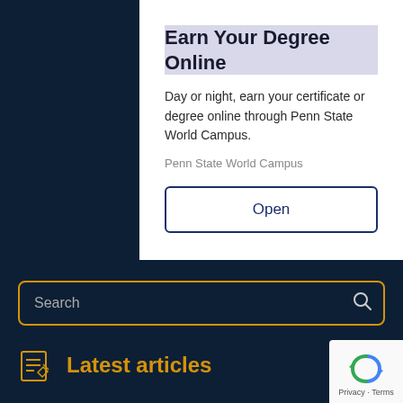Earn Your Degree Online
Day or night, earn your certificate or degree online through Penn State World Campus.
Penn State World Campus
Open
Search
Latest articles